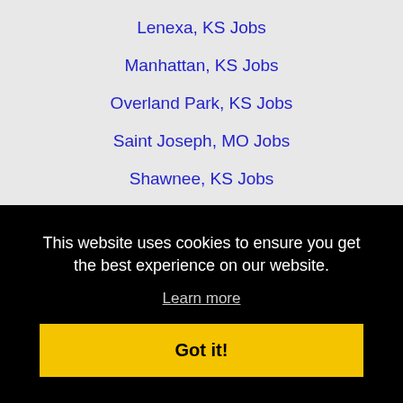Lenexa, KS Jobs
Manhattan, KS Jobs
Overland Park, KS Jobs
Saint Joseph, MO Jobs
Shawnee, KS Jobs
Topeka, KS Jobs
Home  Profile and Resume  Browse Jobs  Employers
This website uses cookies to ensure you get the best experience on our website.
Learn more
Got it!